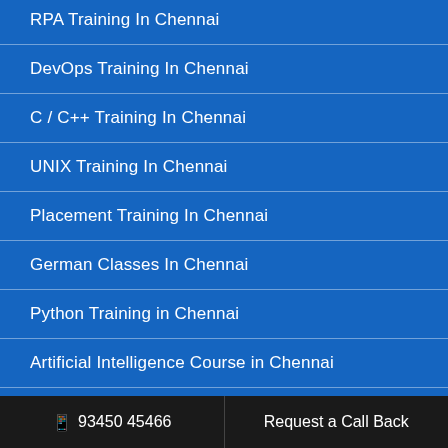RPA Training In Chennai
DevOps Training In Chennai
C / C++ Training In Chennai
UNIX Training In Chennai
Placement Training In Chennai
German Classes In Chennai
Python Training in Chennai
Artificial Intelligence Course in Chennai
AWS Training in Chennai
📱 93450 45466   Request a Call Back